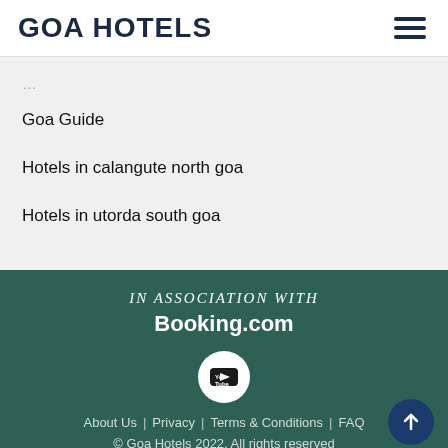GOA HOTELS
Goa Guide
Hotels in calangute north goa
Hotels in utorda south goa
IN ASSOCIATION WITH
Booking.com
[Figure (logo): YouTube logo icon in white circle]
About Us | Privacy | Terms & Conditions | FAQ
© Goa Hotels 2022. All rights reserved